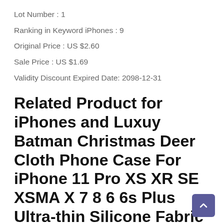Lot Number : 1
Ranking in Keyword iPhones : 9
Original Price : US $2.60
Sale Price : US $1.69
Validity Discount Expired Date: 2098-12-31
Related Product for iPhones and Luxuy Batman Christmas Deer Cloth Phone Case For iPhone 11 Pro XS XR SE XSMA X 7 8 6 6s Plus Ultra-thin Silicone Fabric